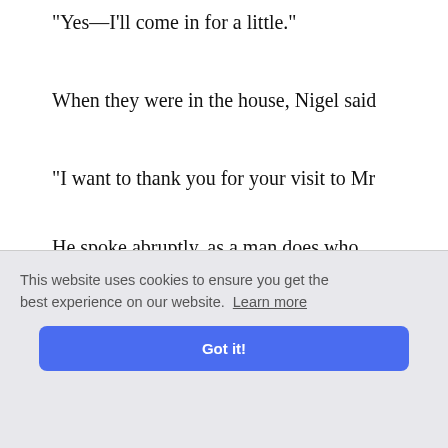"Yes—I'll come in for a little."
When they were in the house, Nigel said
"I want to thank you for your visit to Mr
He spoke abruptly, as a man does who who suddenly, but not without some dif
"Why on earth should you thank me?"
"Because I asked you to go."
"Is Mr Ch... will b... London?"
ts of com
This website uses cookies to ensure you get the best experience on our website. Learn more
Got it!